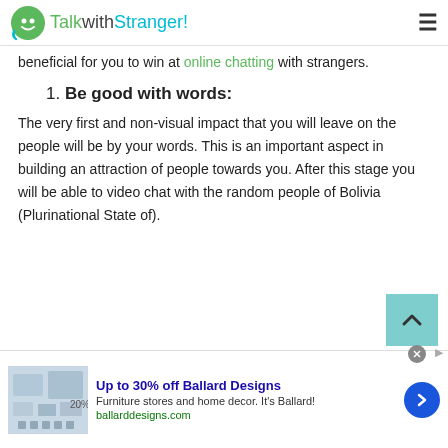TalkwithStranger!
beneficial for you to win at online chatting with strangers.
1. Be good with words:
The very first and non-visual impact that you will leave on the people will be by your words. This is an important aspect in building an attraction of people towards you. After this stage you will be able to video chat with the random people of Bolivia (Plurinational State of).
[Figure (screenshot): Advertisement banner for Ballard Designs: 'Up to 30% off Ballard Designs', Furniture stores and home decor. It's Ballard!, ballarddesigns.com]